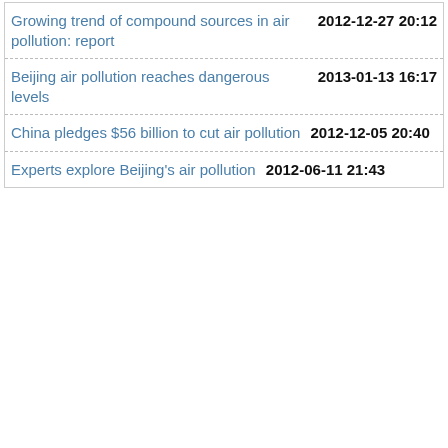Growing trend of compound sources in air pollution: report 2012-12-27 20:12
Beijing air pollution reaches dangerous levels 2013-01-13 16:17
China pledges $56 billion to cut air pollution 2012-12-05 20:40
Experts explore Beijing's air pollution 2012-06-11 21:43